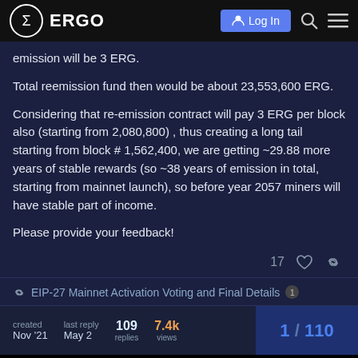ERGO — Log In
emission will be 3 ERG.
Total reemission fund then would be about 23,553,600 ERG.
Considering that re-emission contract will pay 3 ERG per block also (starting from 2,080,800) , thus creating a long tail starting from block # 1,562,400, we are getting ~29.88 more years of stable rewards (so ~38 years of emission in total, starting from mainnet launch), so before year 2057 miners will have stable part of income.
Please provide your feedback!
17 ♡ 🔗
🔗 EIP-27 Mainnet Activation Voting and Final Details 1
created Nov '21   last reply May 2   109 replies   7.4k views   1 / 110